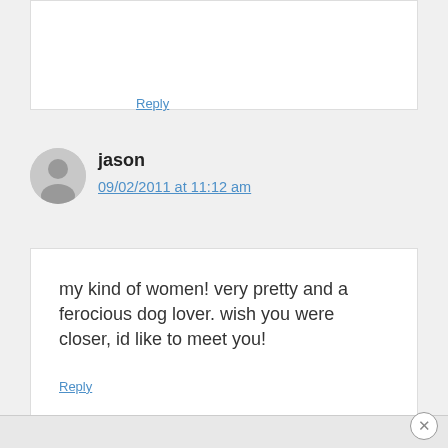Reply
jason
09/02/2011 at 11:12 am
my kind of women! very pretty and a ferocious dog lover. wish you were closer, id like to meet you!
Reply